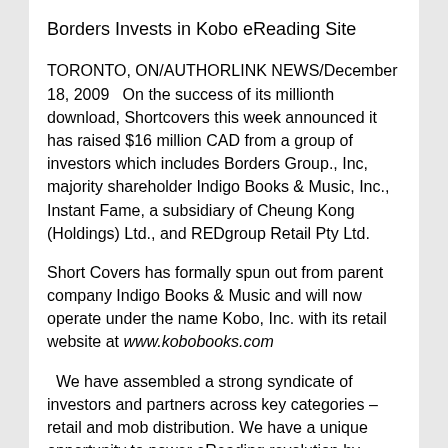Borders Invests in Kobo eReading Site
TORONTO, ON/AUTHORLINK NEWS/December 18, 2009   On the success of its millionth download, Shortcovers this week announced it has raised $16 million CAD from a group of investors which includes Borders Group., Inc, majority shareholder Indigo Books & Music, Inc., Instant Fame, a subsidiary of Cheung Kong (Holdings) Ltd., and REDgroup Retail Pty Ltd.
Short Covers has formally spun out from parent company Indigo Books & Music and will now operate under the name Kobo, Inc. with its retail website at www.kobobooks.com
We have assembled a strong syndicate of investors and partners across key categories – retail and mob distribution. We have a unique opportunity to power eReading revolution by reaching consumers everywhere